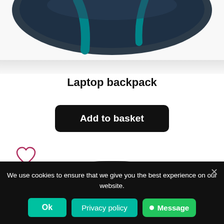[Figure (photo): Partial view of a dark laptop backpack with teal accent, cropped at top of page]
Laptop backpack
[Figure (other): Black 'Add to basket' button]
[Figure (other): Heart/favorite icon outline in dark red/crimson]
[Figure (photo): Dark gray cylindrical carrying case or pouch, partially visible]
We use cookies to ensure that we give you the best experience on our website.
[Figure (other): Cookie consent banner with Ok, Privacy policy, and Message buttons, and close X]